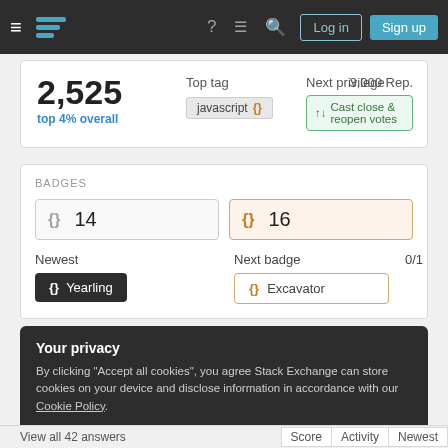Stack Exchange navigation bar with Log in and Sign up buttons
2,525
top 4% overall
Top tag
javascript {}
Next privilege 3,000 Rep.
↑↓ Cast close & reopen votes
BADGES
{} 14
{} 16
Newest
{} Yearling
Next badge 0/1
{} Excavator
Your privacy
By clicking "Accept all cookies", you agree Stack Exchange can store cookies on your device and disclose information in accordance with our Cookie Policy.
Accept all cookies
Customize settings
View all 42 answers	Score	Activity	Newest